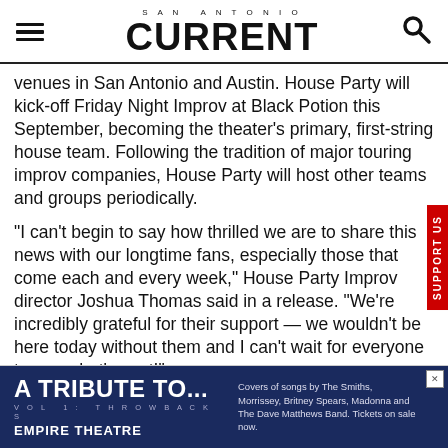SAN ANTONIO CURRENT
venues in San Antonio and Austin. House Party will kick-off Friday Night Improv at Black Potion this September, becoming the theater's primary, first-string house team. Following the tradition of major touring improv companies, House Party will host other teams and groups periodically.
“I can’t begin to say how thrilled we are to share this news with our longtime fans, especially those that come each and every week,” House Party Improv director Joshua Thomas said in a release. “We’re incredibly grateful for their support — we wouldn’t be here today without them and I can’t wait for everyone to see what’s next!”
[Figure (other): Advertisement for A Tribute To... Vol 1: Throwbacks at Empire Theatre. Covers of songs by The Smiths, Morrissey, Britney Spears, Madonna and The Dave Matthews Band. Tickets on sale now.]